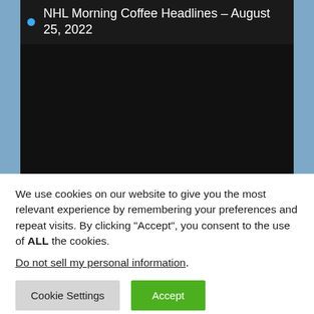NHL Morning Coffee Headlines – August 25, 2022
[Figure (other): Dark/black background area below the list item, part of a website screenshot]
We use cookies on our website to give you the most relevant experience by remembering your preferences and repeat visits. By clicking “Accept”, you consent to the use of ALL the cookies.
Do not sell my personal information.
Cookie Settings  Accept